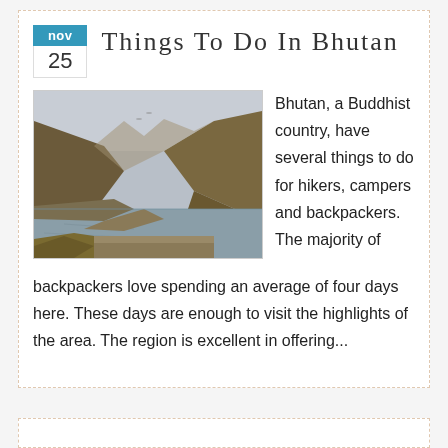Things To Do In Bhutan
[Figure (photo): Mountain valley landscape with a glacial lake surrounded by brown hills and misty peaks]
Bhutan, a Buddhist country, have several things to do for hikers, campers and backpackers. The majority of backpackers love spending an average of four days here. These days are enough to visit the highlights of the area. The region is excellent in offering...